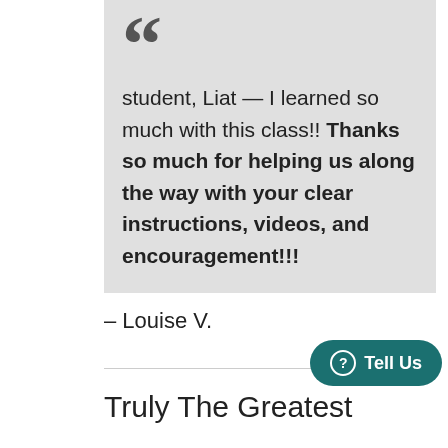student, Liat — I learned so much with this class!! Thanks so much for helping us along the way with your clear instructions, videos, and encouragement!!!
– Louise V.
Truly The Greatest